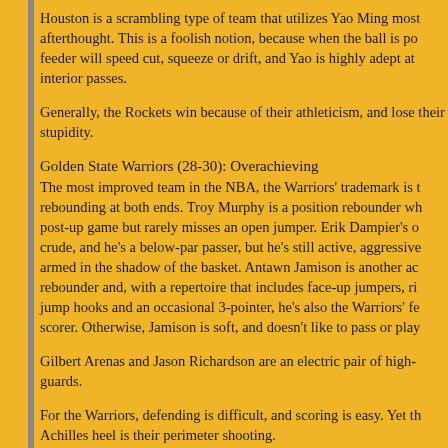Houston is a scrambling type of team that utilizes Yao Ming most afterthought. This is a foolish notion, because when the ball is po feeder will speed cut, squeeze or drift, and Yao is highly adept at interior passes.
Generally, the Rockets win because of their athleticism, and lose their stupidity.
Golden State Warriors (28-30): Overachieving
The most improved team in the NBA, the Warriors' trademark is t rebounding at both ends. Troy Murphy is a position rebounder wh post-up game but rarely misses an open jumper. Erik Dampier's o crude, and he's a below-par passer, but he's still active, aggressive armed in the shadow of the basket. Antawn Jamison is another ac rebounder and, with a repertoire that includes face-up jumpers, ri jump hooks and an occasional 3-pointer, he's also the Warriors' fe scorer. Otherwise, Jamison is soft, and doesn't like to pass or play
Gilbert Arenas and Jason Richardson are an electric pair of high- guards.
For the Warriors, defending is difficult, and scoring is easy. Yet th Achilles heel is their perimeter shooting.
Should Eric Musselman goose these guys into the playoffs, he wo